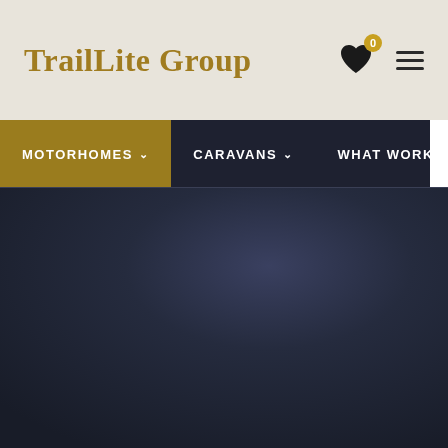TrailLite Group
MOTORHOMES
CARAVANS
WHAT WORK
[Figure (screenshot): Dark gradient background area below navigation, representing a website hero section with a dark navy-to-charcoal gradient.]